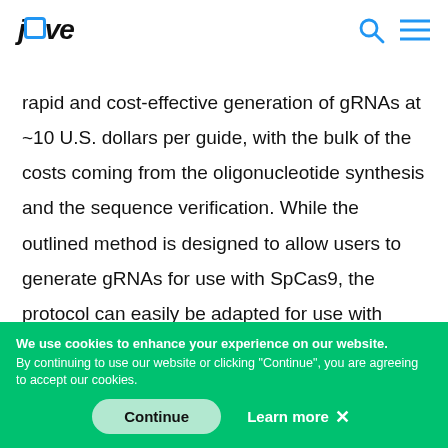jove
rapid and cost-effective generation of gRNAs at ~10 U.S. dollars per guide, with the bulk of the costs coming from the oligonucleotide synthesis and the sequence verification. While the outlined method is designed to allow users to generate gRNAs for use with SpCas9, the protocol can easily be adapted for use with Cas9 orthologues or other RNA-guided endonucleases such
We use cookies to enhance your experience on our website. By continuing to use our website or clicking "Continue", you are agreeing to accept our cookies.